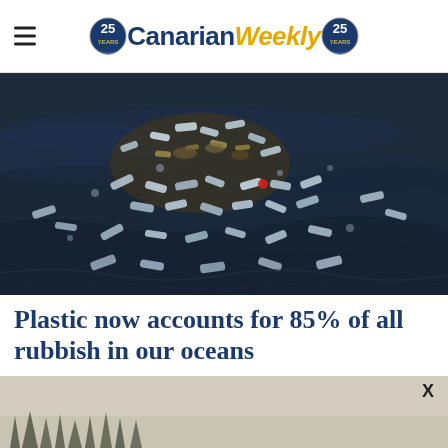Canarian Weekly
[Figure (photo): Aerial view of plastic bottles and ocean rubbish floating on dark ocean water]
Plastic now accounts for 85% of all rubbish in our oceans
[Figure (photo): Bottom strip showing partially visible landscape image with an X close button]